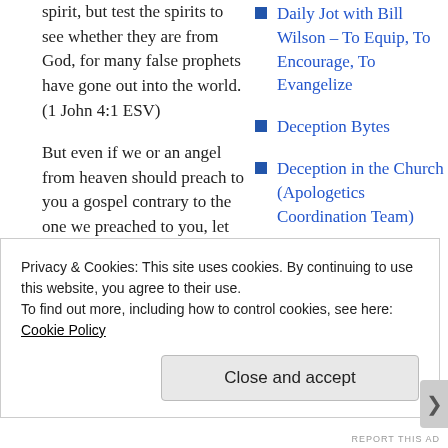spirit, but test the spirits to see whether they are from God, for many false prophets have gone out into the world. (1 John 4:1 ESV)
But even if we or an angel from heaven should preach to you a gospel contrary to the one we preached to you, let him be
Daily Jot with Bill Wilson – To Equip, To Encourage, To Evangelize
Deception Bytes
Deception in the Church (Apologetics Coordination Team)
Defender's Bible (from
Privacy & Cookies: This site uses cookies. By continuing to use this website, you agree to their use.
To find out more, including how to control cookies, see here: Cookie Policy
Close and accept
REPORT THIS AD